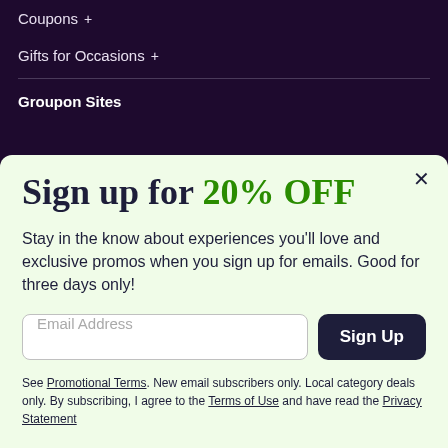Coupons +
Gifts for Occasions +
Groupon Sites
Sign up for 20% OFF
Stay in the know about experiences you'll love and exclusive promos when you sign up for emails. Good for three days only!
Email Address
Sign Up
See Promotional Terms. New email subscribers only. Local category deals only. By subscribing, I agree to the Terms of Use and have read the Privacy Statement